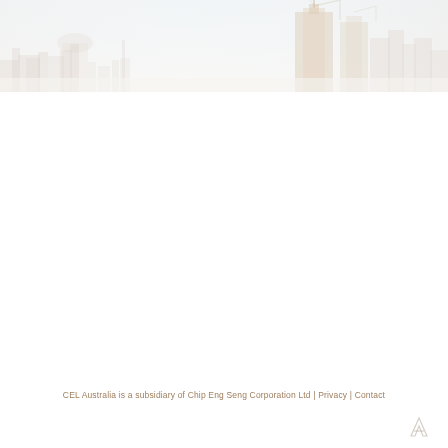[Figure (photo): Faded cityscape/skyline photograph showing high-rise buildings under hazy sky, very light and washed-out tone, spanning full width at top of page]
CEL Australia is a subsidiary of Chip Eng Seng Corporation Ltd | Privacy | Contact